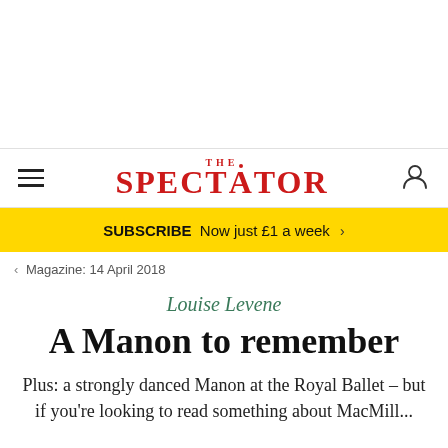THE SPECTATOR
SUBSCRIBE Now just £1 a week >
< Magazine: 14 April 2018
Louise Levene
A Manon to remember
Plus: a strongly danced Manon at the Royal Ballet – but if you're looking to read something about MacMill...